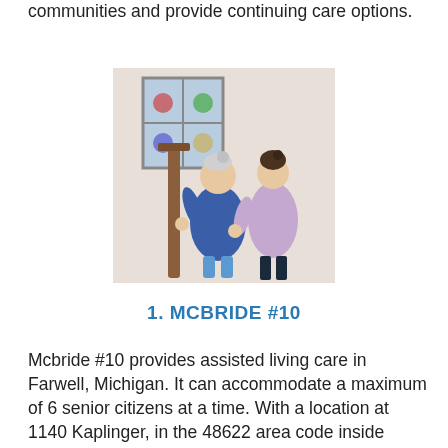communities and provide continuing care options.
[Figure (photo): An elderly woman in a blue dress holding a stair railing being assisted by a young female caregiver in a lavender uniform, indoors near a staircase with stained glass windows in the background.]
1. MCBRIDE #10
Mcbride #10 provides assisted living care in Farwell, Michigan. It can accommodate a maximum of 6 senior citizens at a time. With a location at 1140 Kaplinger, in the 48622 area code inside Clare county, Mcbride #10 assists those elderly adults who need assistance with daily tasks. Some of the amenities offered by Mcbride #10 include transportation to doctor's